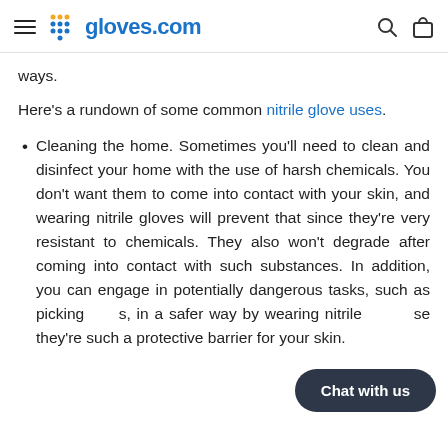gloves.com
ways.
Here's a rundown of some common nitrile glove uses.
Cleaning the home. Sometimes you'll need to clean and disinfect your home with the use of harsh chemicals. You don't want them to come into contact with your skin, and wearing nitrile gloves will prevent that since they're very resistant to chemicals. They also won't degrade after coming into contact with such substances. In addition, you can engage in potentially dangerous tasks, such as picking up sharp objects, in a safer way by wearing nitrile gloves because they're such a protective barrier for your skin.